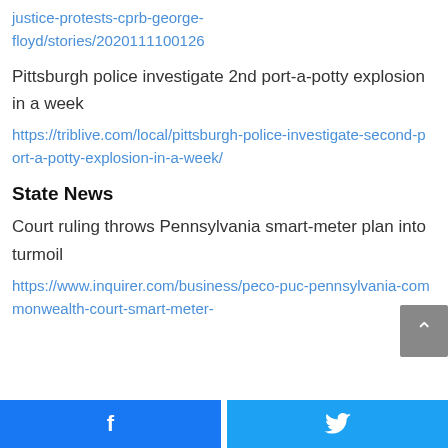justice-protests-cprb-george-floyd/stories/2020111100126
Pittsburgh police investigate 2nd port-a-potty explosion in a week
https://triblive.com/local/pittsburgh-police-investigate-second-port-a-potty-explosion-in-a-week/
State News
Court ruling throws Pennsylvania smart-meter plan into turmoil
https://www.inquirer.com/business/peco-puc-pennsylvania-commonwealth-court-smart-meter-